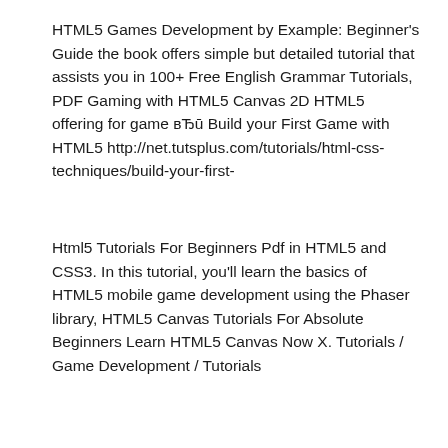HTML5 Games Development by Example: Beginner's Guide the book offers simple but detailed tutorial that assists you in 100+ Free English Grammar Tutorials, PDF Gaming with HTML5 Canvas 2D HTML5 offering for game вЂū Build your First Game with HTML5 http://net.tutsplus.com/tutorials/html-css-techniques/build-your-first-
Html5 Tutorials For Beginners Pdf in HTML5 and CSS3. In this tutorial, you'll learn the basics of HTML5 mobile game development using the Phaser library, HTML5 Canvas Tutorials For Absolute Beginners Learn HTML5 Canvas Now X. Tutorials / Game Development / Tutorials